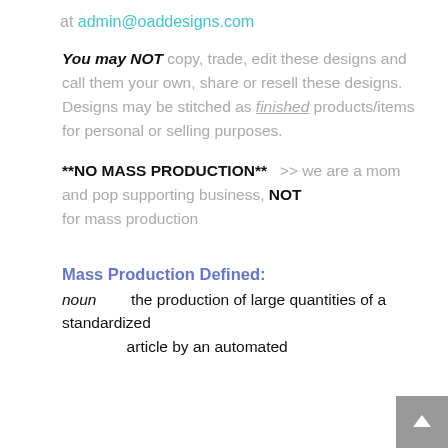at admin@oaddesigns.com
You may NOT copy, trade, edit these designs and call them your own, share or resell these designs. Designs may be stitched as finished products/items for personal or selling purposes.
**NO MASS PRODUCTION**  >> we are a mom and pop supporting business, NOT for mass production
Mass Production Defined:
noun      the production of large quantities of a standardized article by an automated